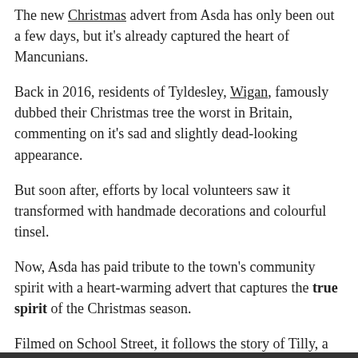The new Christmas advert from Asda has only been out a few days, but it's already captured the heart of Mancunians.
Back in 2016, residents of Tyldesley, Wigan, famously dubbed their Christmas tree the worst in Britain, commenting on it's sad and slightly dead-looking appearance.
But soon after, efforts by local volunteers saw it transformed with handmade decorations and colourful tinsel.
Now, Asda has paid tribute to the town's community spirit with a heart-warming advert that captures the true spirit of the Christmas season.
Filmed on School Street, it follows the story of Tilly, a young girl with huge generosity of spirit, on a mission to spread Christmas joy throughout her town in honour of her late granddad.